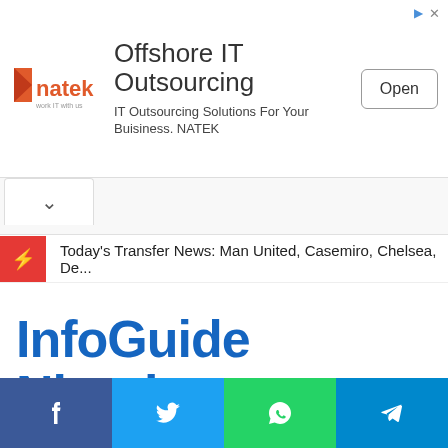[Figure (screenshot): NATEK advertisement banner: logo on left, 'Offshore IT Outsourcing' heading, 'IT Outsourcing Solutions For Your Buisiness. NATEK' subtitle, and Open button on right]
Today's Transfer News: Man United, Casemiro, Chelsea, De...
InfoGuide Nigeria
[Figure (infographic): Social share bar with Facebook, Twitter, WhatsApp, and Telegram buttons]